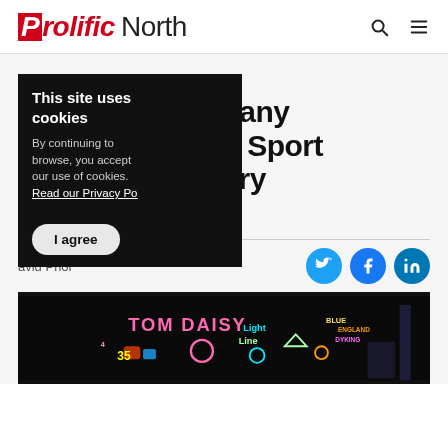Prolific North
01 February 2021
Stockport company works with BBC Sport on LGBT+ History Month video
David Prior
This site uses cookies
By continuing to browse, you accept our use of cookies.
Read our Privacy Policy
I agree
[Figure (photo): Colorful neon-style illustration with text 'Tom Daisy' and other names/figures on dark background]